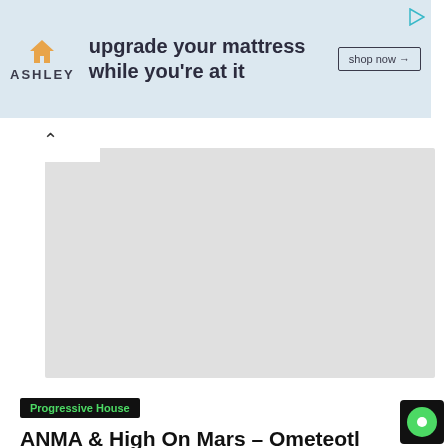[Figure (screenshot): Ashley Furniture advertisement banner with logo, text 'upgrade your mattress while you're at it', and 'shop now' button]
[Figure (photo): Large grey placeholder image area for music article]
Progressive House
ANMA & High On Mars – Ometeotl
admin   21.08.2022